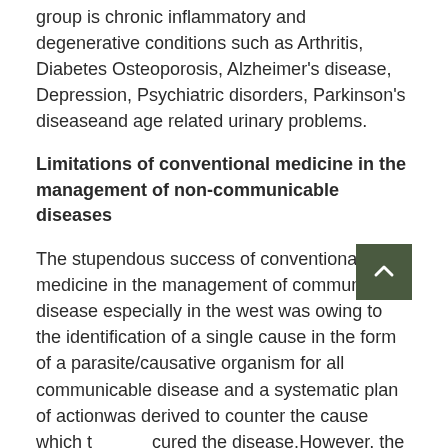group is chronic inflammatory and degenerative conditions such as Arthritis, Diabetes Osteoporosis, Alzheimer's disease, Depression, Psychiatric disorders, Parkinson's diseaseand age related urinary problems.
Limitations of conventional medicine in the management of non-communicable diseases
The stupendous success of conventional medicine in the management of communicable disease especially in the west was owing to the identification of a single cause in the form of a parasite/causative organism for all communicable disease and a systematic plan of actionwas derived to counter the cause which then cured the disease.However, the biggest challenge with geriatric problem is that in most ofthe cases the condition cannot be attributed to a single cause or